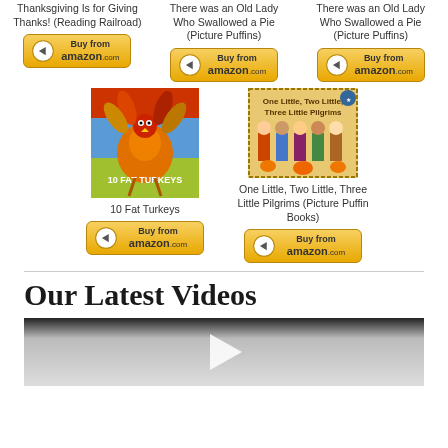[Figure (other): Book cover thumbnail and buy button for Thanksgiving Is for Giving Thanks! (Reading Railroad)]
[Figure (other): Book cover thumbnail and buy button for There was an Old Lady Who Swallowed a Pie (Picture Puffins) - first instance]
[Figure (other): Book cover thumbnail and buy button for There was an Old Lady Who Swallowed a Pie (Picture Puffins) - second instance]
[Figure (photo): Book cover image for 10 Fat Turkeys]
10 Fat Turkeys
[Figure (other): Buy from amazon.com button for 10 Fat Turkeys]
[Figure (photo): Book cover image for One Little, Two Little, Three Little Pilgrims (Picture Puffin Books)]
One Little, Two Little, Three Little Pilgrims (Picture Puffin Books)
[Figure (other): Buy from amazon.com button for One Little, Two Little, Three Little Pilgrims]
Our Latest Videos
[Figure (other): Video player placeholder with play button]